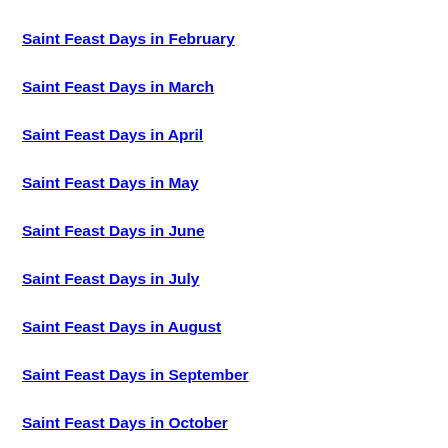Saint Feast Days in February
Saint Feast Days in March
Saint Feast Days in April
Saint Feast Days in May
Saint Feast Days in June
Saint Feast Days in July
Saint Feast Days in August
Saint Feast Days in September
Saint Feast Days in October